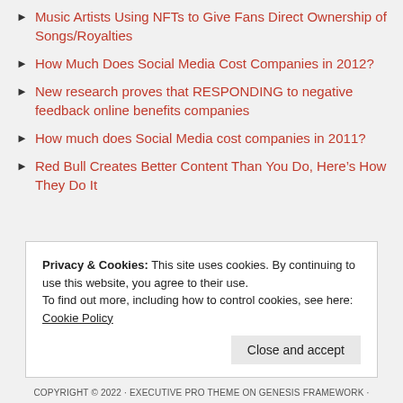Music Artists Using NFTs to Give Fans Direct Ownership of Songs/Royalties
How Much Does Social Media Cost Companies in 2012?
New research proves that RESPONDING to negative feedback online benefits companies
How much does Social Media cost companies in 2011?
Red Bull Creates Better Content Than You Do, Here's How They Do It
Privacy & Cookies: This site uses cookies. By continuing to use this website, you agree to their use. To find out more, including how to control cookies, see here: Cookie Policy
COPYRIGHT © 2022 · EXECUTIVE PRO THEME ON GENESIS FRAMEWORK ·